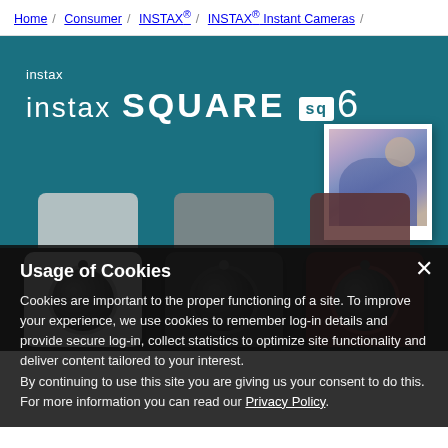Home / Consumer / INSTAX® / INSTAX® Instant Cameras /
instax SQUARE SQ6
[Figure (photo): Small polaroid-style photo of a woman in a blue garment, used as product example image in the teal header background]
[Figure (photo): Three INSTAX SQUARE SQ6 cameras shown side by side on dark background: white/silver, graphite/dark, and maroon/burgundy color variants]
Usage of Cookies
Cookies are important to the proper functioning of a site. To improve your experience, we use cookies to remember log-in details and provide secure log-in, collect statistics to optimize site functionality and deliver content tailored to your interest.
By continuing to use this site you are giving us your consent to do this. For more information you can read our Privacy Policy.